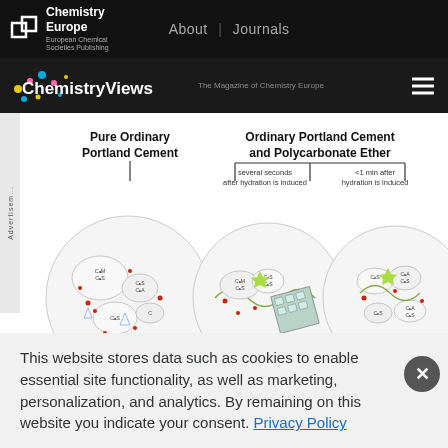Chemistry Europe | European Chemical Societies Publishing | About | Journals
ChemistryViews — The Magazine of Chemistry Europe
[Figure (illustration): Scientific diagram comparing Pure Ordinary Portland Cement versus Ordinary Portland Cement and Polycarbonate Ether, showing cement particle hydration at different time points (several seconds after hydration is induced, and <1 min after hydration is induced), with circular microscopy-style illustrations of cement particles labeled with C3M, C2S, C3A, C4AF etc.]
This website stores data such as cookies to enable essential site functionality, as well as marketing, personalization, and analytics. By remaining on this website you indicate your consent. Privacy Policy